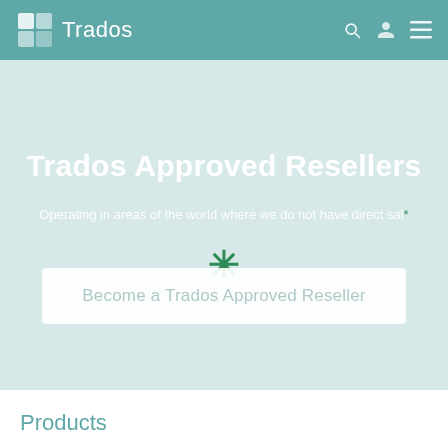Trados
Trados Approved Resellers
Operating in areas of the world where we do not have direct sales*
Become a Trados Approved Reseller
Products